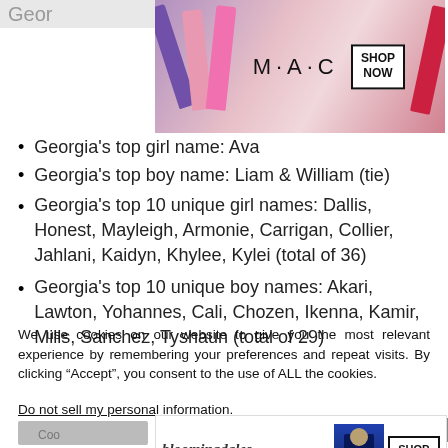Geor
[Figure (photo): MAC cosmetics advertisement banner with lipsticks and SHOP NOW button]
Georgia's top girl name: Ava
Georgia's top boy name: Liam & William (tie)
Georgia's top 10 unique girl names: Dallis, Honest, Mayleigh, Armonie, Carrigan, Collier, Jahlani, Kaidyn, Khylee, Kylei (total of 36)
Georgia's top 10 unique boy names: Akari, Lawton, Yohannes, Cali, Chozen, Ikenna, Kamir, Mills, Sanchez, Tyshaun (total of 29)
We use cookies on our website to give you the most relevant experience by remembering your preferences and repeat visits. By clicking “Accept”, you consent to the use of ALL the cookies.
Do not sell my personal information.
[Figure (photo): Bloomingdale's advertisement banner with View Today's Top Deals and SHOP NOW button]